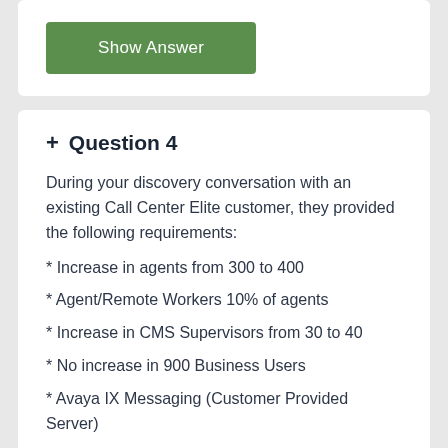Show Answer
+ Question 4
During your discovery conversation with an existing Call Center Elite customer, they provided the following requirements:
* Increase in agents from 300 to 400
* Agent/Remote Workers 10% of agents
* Increase in CMS Supervisors from 30 to 40
* No increase in 900 Business Users
* Avaya IX Messaging (Customer Provided Server)